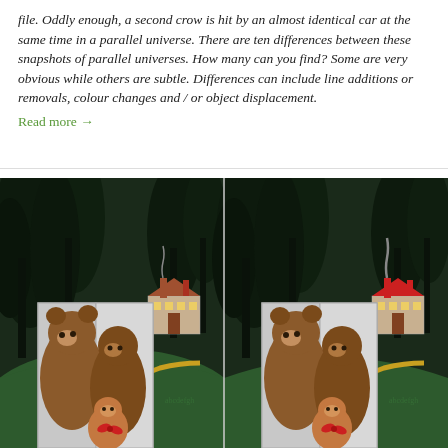file. Oddly enough, a second crow is hit by an almost identical car at the same time in a parallel universe. There are ten differences between these snapshots of parallel universes. How many can you find? Some are very obvious while others are subtle. Differences can include line additions or removals, colour changes and / or object displacement.
Read more →
[Figure (illustration): Two side-by-side cartoon illustrations showing bears inside a wardrobe/cabinet in a dark forest setting with a house in the background. The images are spot-the-difference puzzle panels.]